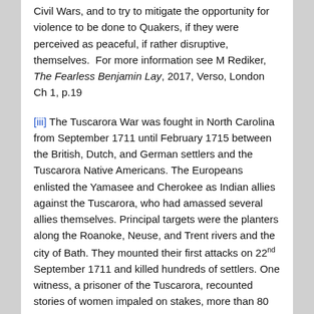Civil Wars, and to try to mitigate the opportunity for violence to be done to Quakers, if they were perceived as peaceful, if rather disruptive, themselves.  For more information see M Rediker, The Fearless Benjamin Lay, 2017, Verso, London Ch 1, p.19
[iii] The Tuscarora War was fought in North Carolina from September 1711 until February 1715 between the British, Dutch, and German settlers and the Tuscarora Native Americans. The Europeans enlisted the Yamasee and Cherokee as Indian allies against the Tuscarora, who had amassed several allies themselves. Principal targets were the planters along the Roanoke, Neuse, and Trent rivers and the city of Bath. They mounted their first attacks on 22nd September 1711 and killed hundreds of settlers. One witness, a prisoner of the Tuscarora, recounted stories of women impaled on stakes, more than 80 infants slaughtered, and more than 130 settlers killed. The militia and approximately 500 Yamasee marched into Tuscarora territory and killed nearly 800, and after a second assault on the main village, King Hancock, the Tuscarora chief,